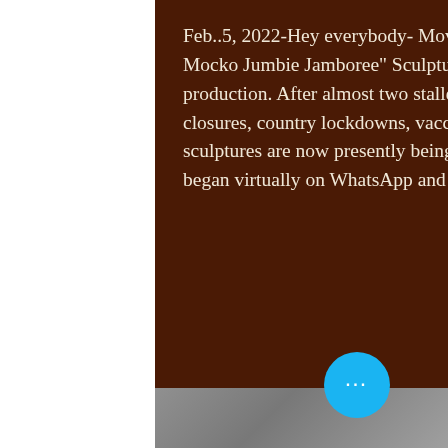Feb..5, 2022-Hey everybody- Moving right along- as we post this, "The Mocko Jumbie Jamboree" Sculptures" are now firmly back in production. After almost two stalled years of the Pandemic, with border closures, country lockdowns, vaccination and mask mandates the three sculptures are now presently being cast in silicon bronze.  The start up began virtually on WhatsApp and FaceTime,
[Figure (photo): Two square panels side by side at bottom: left panel showing a gray metallic/concrete textured surface, right panel showing an orange-brown patinated bronze surface. A blue circular button with three white dots overlays the bottom right area.]